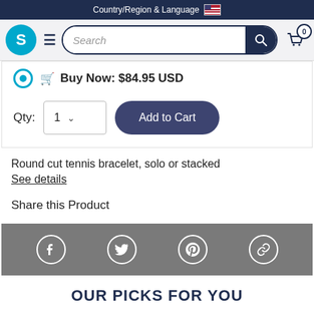Country/Region & Language
[Figure (screenshot): Website navigation bar with logo S, hamburger menu, search bar, and cart icon with 0 items]
Buy Now: $84.95 USD
Qty: 1
Add to Cart
Round cut tennis bracelet, solo or stacked
See details
Share this Product
[Figure (infographic): Social sharing bar with Facebook, Twitter, Pinterest, and link icons on grey background]
OUR PICKS FOR YOU